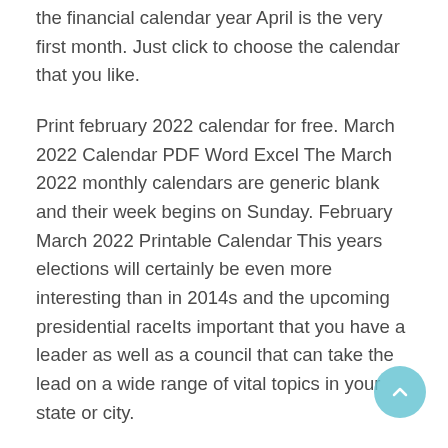the financial calendar year April is the very first month. Just click to choose the calendar that you like.
Print february 2022 calendar for free. March 2022 Calendar PDF Word Excel The March 2022 monthly calendars are generic blank and their week begins on Sunday. February March 2022 Printable Calendar This years elections will certainly be even more interesting than in 2014s and the upcoming presidential raceIts important that you have a leader as well as a council that can take the lead on a wide range of vital topics in your state or city.
This February and March 2022 calendar is available in a printable PDF format and can be downloaded for free. You can use calendar templates according to your need. Indeed this Printable January February March 2022...